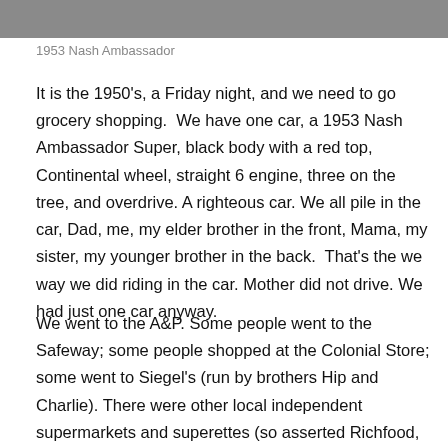[Figure (photo): Partial photo of a 1953 Nash Ambassador, cropped at top of page showing the upper portion of the car]
1953 Nash Ambassador
It is the 1950's, a Friday night, and we need to go grocery shopping.  We have one car, a 1953 Nash Ambassador Super, black body with a red top, Continental wheel, straight 6 engine, three on the tree, and overdrive. A righteous car. We all pile in the car, Dad, me, my elder brother in the front, Mama, my sister, my younger brother in the back.  That's the we way we did riding in the car. Mother did not drive. We had just one car anyway.
We went to the A&P. Some people went to the Safeway; some people shopped at the Colonial Store; some went to Siegel's (run by brothers Hip and Charlie). There were other local independent supermarkets and superettes (so asserted Richfood, the local buyers' co-op).  But we went